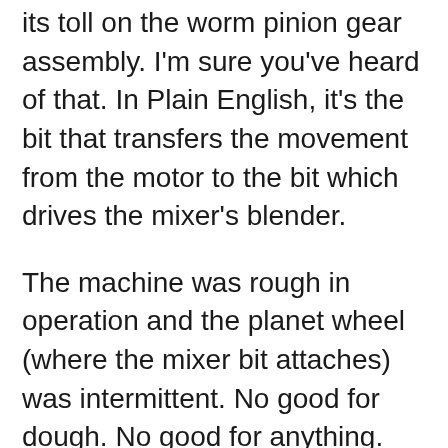its toll on the worm pinion gear assembly. I'm sure you've heard of that. In Plain English, it's the bit that transfers the movement from the motor to the bit which drives the mixer's blender.
The machine was rough in operation and the planet wheel (where the mixer bit attaches) was intermittent. No good for dough. No good for anything.
Due to their simple construction, dismantling just involves one cross-head